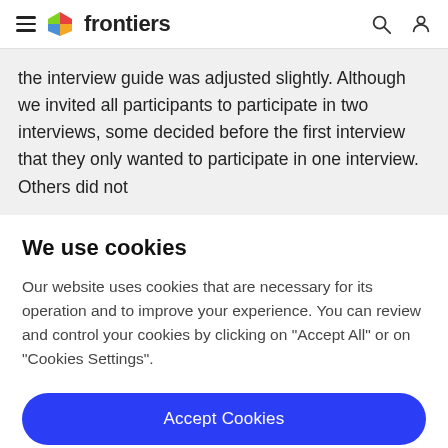frontiers
the interview guide was adjusted slightly. Although we invited all participants to participate in two interviews, some decided before the first interview that they only wanted to participate in one interview. Others did not
We use cookies
Our website uses cookies that are necessary for its operation and to improve your experience. You can review and control your cookies by clicking on "Accept All" or on "Cookies Settings".
Accept Cookies
Cookies Settings